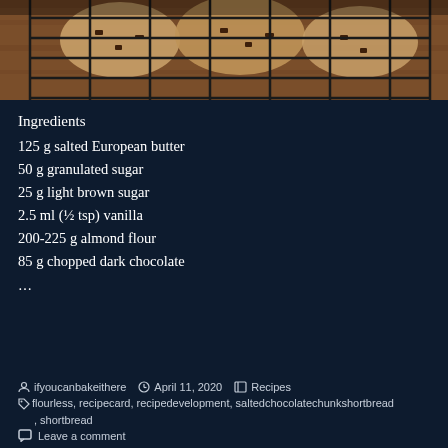[Figure (photo): Close-up photo of baked cookies on a wire cooling rack over a wooden surface, dark overhead lighting.]
Ingredients
125 g salted European butter
50 g granulated sugar
25 g light brown sugar
2.5 ml (½ tsp) vanilla
200-225 g almond flour
85 g chopped dark chocolate
…
ifyoucanbakeithere  April 11, 2020  Recipes  flourless, recipecard, recipedevelopment, saltedchocolatechunkshortbread, shortbread  Leave a comment